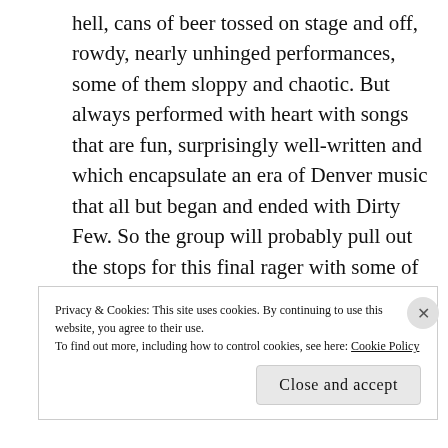hell, cans of beer tossed on stage and off, rowdy, nearly unhinged performances, some of them sloppy and chaotic. But always performed with heart with songs that are fun, surprisingly well-written and which encapsulate an era of Denver music that all but began and ended with Dirty Few. So the group will probably pull out the stops for this final rager with some of its friends and peers including the great power pop band Bud Bronson & The Good Timers from Denver and Lloyd and Saviour from Boise.
Privacy & Cookies: This site uses cookies. By continuing to use this website, you agree to their use. To find out more, including how to control cookies, see here: Cookie Policy